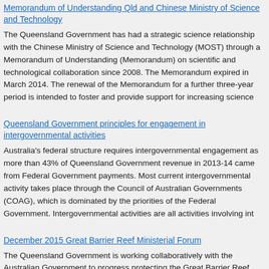Memorandum of Understanding Qld and Chinese Ministry of Science and Technology
The Queensland Government has had a strategic science relationship with the Chinese Ministry of Science and Technology (MOST) through a Memorandum of Understanding (Memorandum) on scientific and technological collaboration since 2008. The Memorandum expired in March 2014. The renewal of the Memorandum for a further three-year period is intended to foster and provide support for increasing science
Queensland Government principles for engagement in intergovernmental activities
Australia's federal structure requires intergovernmental engagement as more than 43% of Queensland Government revenue in 2013-14 came from Federal Government payments. Most current intergovernmental activity takes place through the Council of Australian Governments (COAG), which is dominated by the priorities of the Federal Government. Intergovernmental activities are all activities involving int
December 2015 Great Barrier Reef Ministerial Forum
The Queensland Government is working collaboratively with the Australian Government to progress protecting the Great Barrier Reef. This has included coming together at the Great Barrier Reef Ministerial Forum to discuss key issues such as the implementation of the Reef 2050 Long-Term Sustainability Plan (Reef 2050 Plan) that was jointly released by both governments in March 2015. The Queensland G